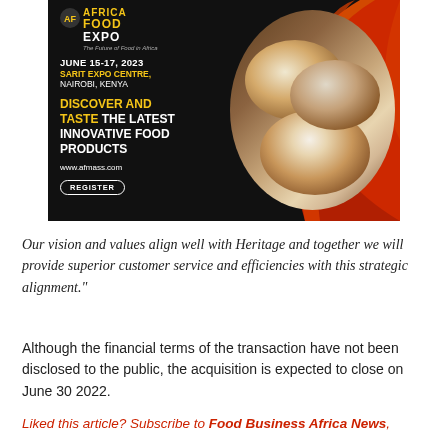[Figure (infographic): Africa Food Expo advertisement banner. Black background. Dates: JUNE 15-17, 2023. Venue: SARIT EXPO CENTRE, NAIROBI, KENYA. Headline: DISCOVER AND TASTE THE LATEST INNOVATIVE FOOD PRODUCTS. URL: www.afmass.com. Register button. Right side shows orange/red circular design with photo of artisan bread loaves.]
Our vision and values align well with Heritage and together we will provide superior customer service and efficiencies with this strategic alignment."
Although the financial terms of the transaction have not been disclosed to the public, the acquisition is expected to close on June 30 2022.
Liked this article? Subscribe to Food Business Africa News,